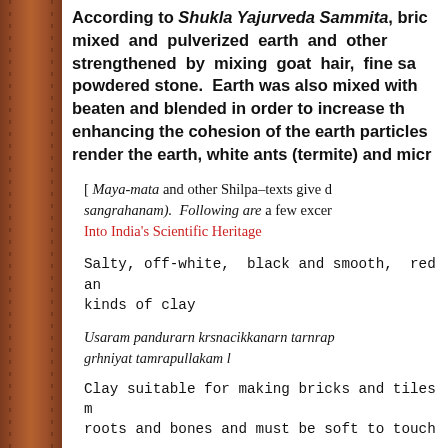According to Shukla Yajurveda Sammita, bricks were mixed and pulverized earth and other strengthened by mixing goat hair, fine sa powdered stone. Earth was also mixed with beaten and blended in order to increase the enhancing the cohesion of the earth particles render the earth, white ants (termite) and micro
[ Maya-mata and other Shilpa-texts give d sangrahanam). Following are a few excer Into India's Scientific Heritage
Salty, off-white, black and smooth, red an kinds of clay
Usaram pandurarn krsnacikkanarn tarnrap grhniyat tamrapullakam l
Clay suitable for making bricks and tiles m roots and bones and must be soft to touch
Asarkarasmarnulasthilostarn satanuvaluka sukhasparsamistarn lostestakadisu l